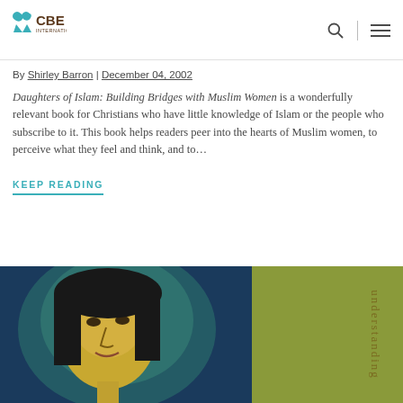[Figure (logo): CBE International logo with teal geometric symbol and brown text]
By Shirley Barron | December 04, 2002
Daughters of Islam: Building Bridges with Muslim Women is a wonderfully relevant book for Christians who have little knowledge of Islam or the people who subscribe to it. This book helps readers peer into the hearts of Muslim women, to perceive what they feel and think, and to...
KEEP READING
[Figure (photo): Book cover showing a painting of a woman's face with golden skin and dark hair on the left, and olive green background with vertical text 'understanding' on the right]